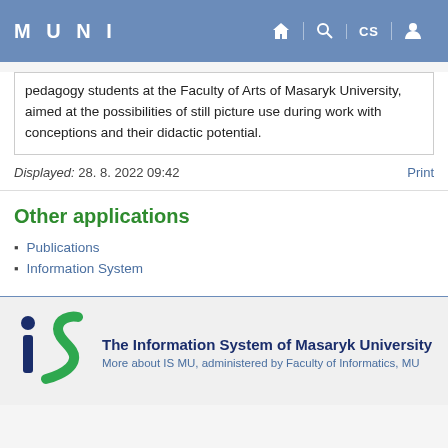MUNI
pedagogy students at the Faculty of Arts of Masaryk University, aimed at the possibilities of still picture use during work with conceptions and their didactic potential.
Displayed: 28. 8. 2022 09:42   Print
Other applications
Publications
Information System
The Information System of Masaryk University
More about IS MU, administered by Faculty of Informatics, MU